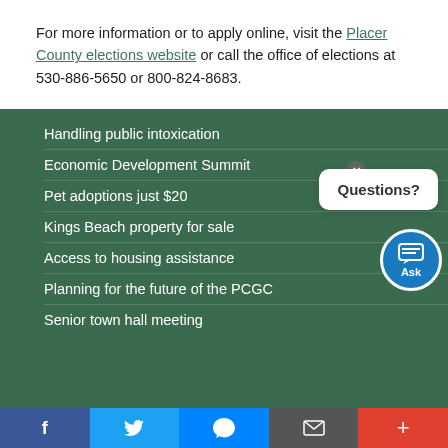For more information or to apply online, visit the Placer County elections website or call the office of elections at 530-886-5650 or 800-824-8683.
Handling public intoxication
Economic Development Summit
Pet adoptions just $20
Kings Beach property for sale
Access to housing assistance
Planning for the future of the PCGC
Senior town hall meeting